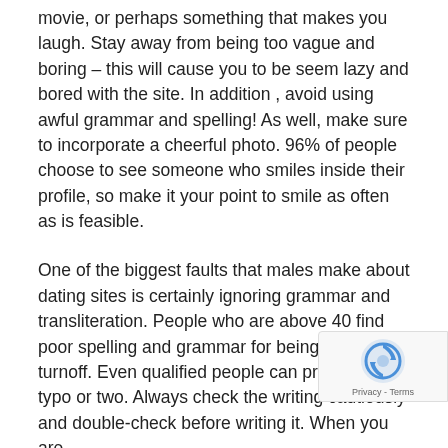movie, or perhaps something that makes you laugh. Stay away from being too vague and boring – this will cause you to be seem lazy and bored with the site. In addition , avoid using awful grammar and spelling! As well, make sure to incorporate a cheerful photo. 96% of people choose to see someone who smiles inside their profile, so make it your point to smile as often as is feasible.
One of the biggest faults that males make about dating sites is certainly ignoring grammar and transliteration. People who are above 40 find poor spelling and grammar for being an instant turnoff. Even qualified people can produce a typo or two. Always check the writing cautiously and double-check before writing it. When you are